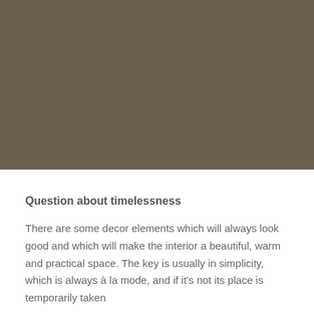[Figure (photo): A full-width photograph showing an interior scene with warm brown/taupe tones — the image is darkened and predominantly shows a muted olive-brown color field.]
Question about timelessness
There are some decor elements which will always look good and which will make the interior a beautiful, warm and practical space. The key is usually in simplicity, which is always à la mode, and if it's not its place is temporarily taken